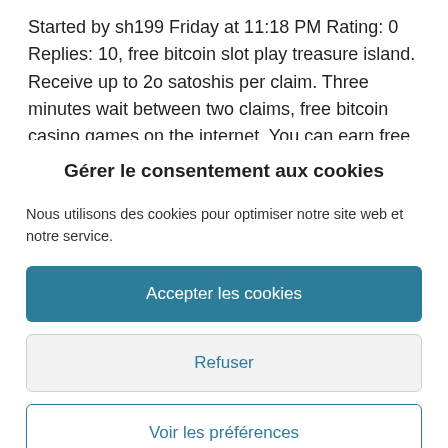Started by sh199 Friday at 11:18 PM Rating: 0 Replies: 10, free bitcoin slot play treasure island. Receive up to 2o satoshis per claim. Three minutes wait between two claims, free bitcoin casino games on the internet. You can earn free bitcoin on the faucet feature without doing any
Gérer le consentement aux cookies
Nous utilisons des cookies pour optimiser notre site web et notre service.
Accepter les cookies
Refuser
Voir les préférences